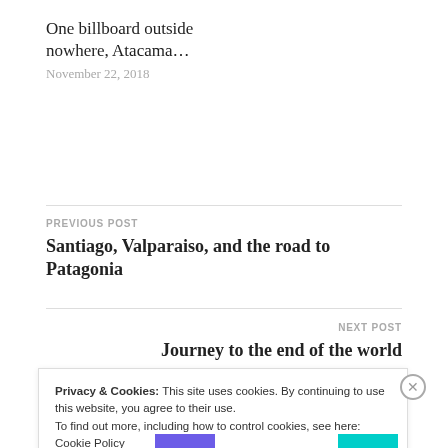One billboard outside nowhere, Atacama...
November 22, 2018
PREVIOUS POST
Santiago, Valparaiso, and the road to Patagonia
NEXT POST
Journey to the end of the world
Privacy & Cookies: This site uses cookies. By continuing to use this website, you agree to their use.
To find out more, including how to control cookies, see here: Cookie Policy
Close and accept